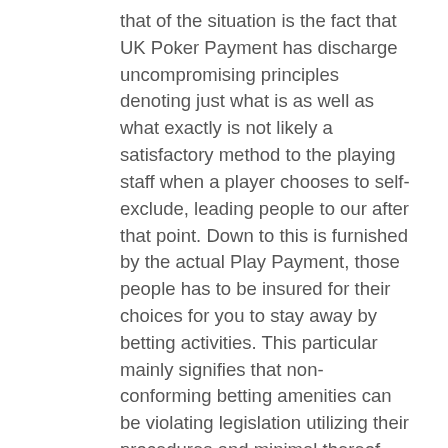that of the situation is the fact that UK Poker Payment has discharge uncompromising principles denoting just what is as well as what exactly is not likely a satisfactory method to the playing staff when a player chooses to self-exclude, leading people to our after that point. Down to this is furnished by the actual Play Payment, those people has to be insured for their choices for you to stay away by betting activities. This particular mainly signifies that non-conforming betting amenities can be violating legislation utilizing their procedures and minimal thereof. Much of our personal expertise directs you to believe who licenced employees have sufficient types of procedures for the purpose of purchasers ready to self-exclude, anytime you will be participating in for our a good idea sports sporting webpages, everyone shouldn't have any complications of that. The correct way Truly does any Do-it-yourself Different Catalog Perform? These Self-Exclusion number is significant for the complete pattern so that you can work as expected. Oahu is the